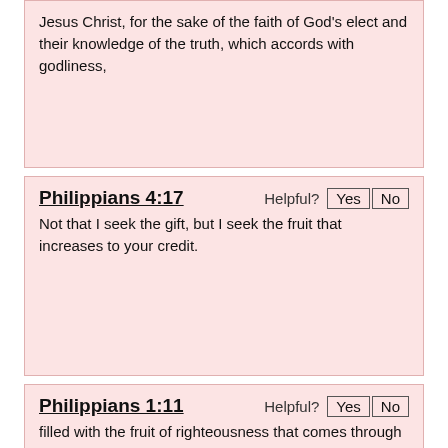Jesus Christ, for the sake of the faith of God's elect and their knowledge of the truth, which accords with godliness,
Philippians 4:17
Not that I seek the gift, but I seek the fruit that increases to your credit.
Philippians 1:11
filled with the fruit of righteousness that comes through Jesus Christ, to the glory